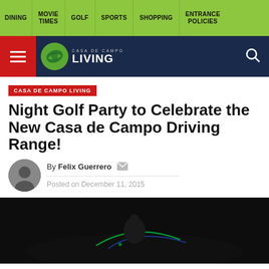DINING | MOVIE TIMES | GOLF | SPORTS | SHOPPING | ENTRANCE POLICIES
[Figure (logo): Casa de Campo Living logo with green circular icon and white text on dark navy background]
CASA DE CAMPO LIVING
Night Golf Party to Celebrate the New Casa de Campo Driving Range!
By Felix Guerrero
Posted on December 11, 2015
[Figure (photo): Dark night golf scene showing glowing golf equipment]